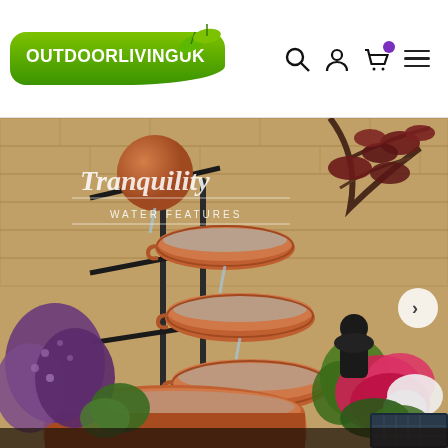[Figure (logo): Outdoor Living UK green logo with leaf icon]
[Figure (photo): Tiered terracotta pot water fountain feature in a garden, with Tranquility Water Features branding overlay, surrounded by heather, cyclamen, and other plants. A solar panel is visible bottom right. A next arrow button is visible on the right side.]